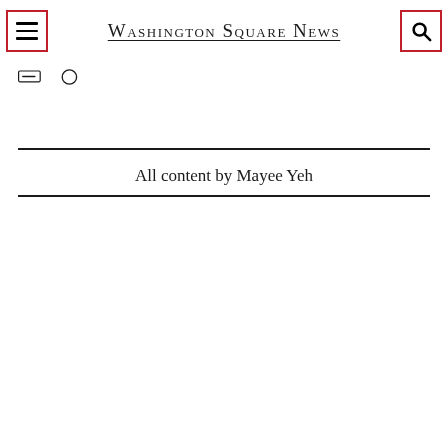Washington Square News
[Figure (screenshot): Social media icons (share/bookmark) below the navigation header]
All content by Mayee Yeh